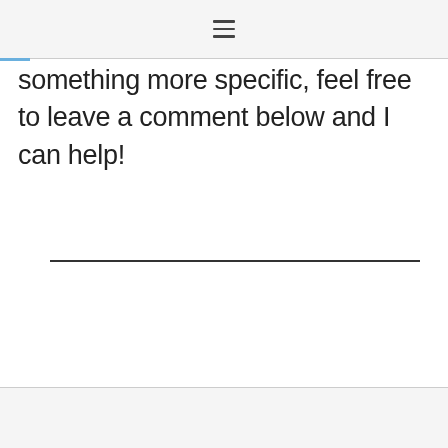☰
something more specific, feel free to leave a comment below and I can help!